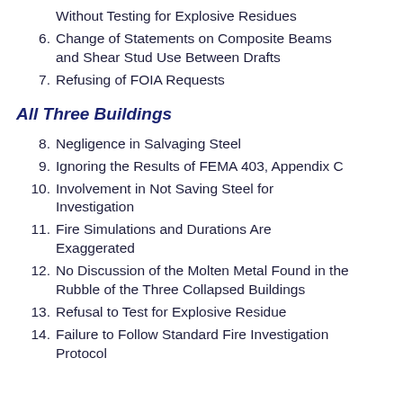Without Testing for Explosive Residues
6. Change of Statements on Composite Beams and Shear Stud Use Between Drafts
7. Refusing of FOIA Requests
All Three Buildings
8. Negligence in Salvaging Steel
9. Ignoring the Results of FEMA 403, Appendix C
10. Involvement in Not Saving Steel for Investigation
11. Fire Simulations and Durations Are Exaggerated
12. No Discussion of the Molten Metal Found in the Rubble of the Three Collapsed Buildings
13. Refusal to Test for Explosive Residue
14. Failure to Follow Standard Fire Investigation Protocol